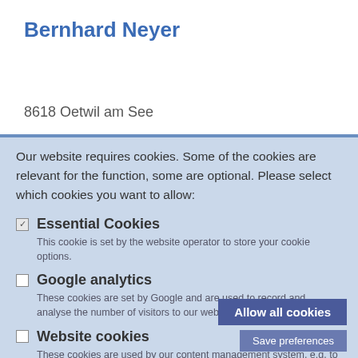Bernhard Neyer
8618 Oetwil am See
Our website requires cookies. Some of the cookies are relevant for the function, some are optional. Please select which cookies you want to allow:
Essential Cookies — This cookie is set by the website operator to store your cookie options.
Google analytics — These cookies are set by Google and are used to record and analyse the number of visitors to our website.
Website cookies — These cookies are used by our content management system, e.g. to enable a login..
Allow all cookies
Save preferences